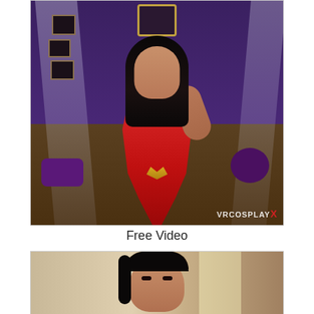[Figure (photo): Woman in red costume kneeling on a bed in a darkly lit room with purple walls, lace canopy, and framed pictures. Watermark reads VRCOSPLAY in bottom right.]
Free Video
[Figure (photo): Close-up cropped photo of a woman's face with dark hair in a room with light-colored walls and a window.]